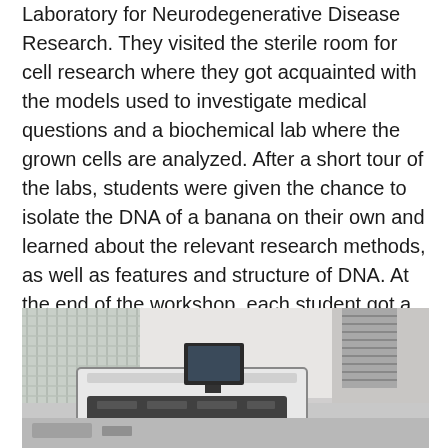Laboratory for Neurodegenerative Disease Research. They visited the sterile room for cell research where they got acquainted with the models used to investigate medical questions and a biochemical lab where the grown cells are analyzed. After a short tour of the labs, students were given the chance to isolate the DNA of a banana on their own and learned about the relevant research methods, as well as features and structure of DNA. At the end of the workshop, each student got a souvenir of the visit – the DNA they isolated on their own!
[Figure (photo): Laboratory room showing scientific equipment including what appears to be a large white laboratory machine/instrument on a bench, with a monitor screen, ventilation ducting visible on the right, and window blinds on the left.]